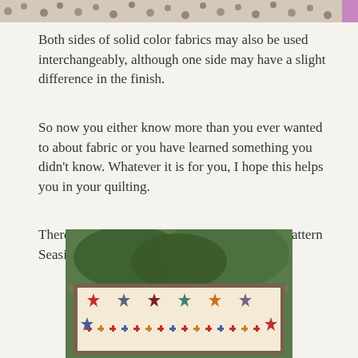[Figure (photo): Partial view of a polka-dot fabric strip at the top of the page]
Both sides of solid color fabrics may also be used interchangeably, although one side may have a slight difference in the finish.
So now you either know more than you ever wanted to about fabric or you have learned something you didn’t know. Whatever it is for you, I hope this helps you in your quilting.
There’s still time to enter the drawing for my pattern Seaside Cottage!
[Figure (photo): Photo of a quilt with star patterns displayed outdoors against trees, showing colorful eight-pointed stars and cross/checker patterns in red, blue, purple, orange, and other colors on a cream background, framed in wood]